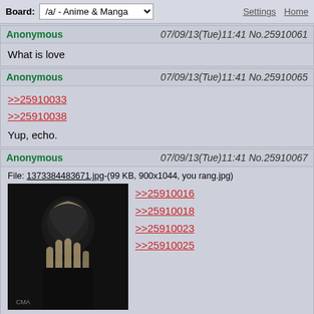Board: /a/ - Anime & Manga | Settings | Home
Anonymous 07/09/13(Tue)11:41 No.25910061
What is love
Anonymous 07/09/13(Tue)11:41 No.25910065
>>25910033
>>25910038
Yup, echo.
Anonymous 07/09/13(Tue)11:41 No.25910067
File: 1373384483671.jpg-(99 KB, 900x1044, you rang.jpg)
>>25910016
>>25910018
>>25910023
>>25910025
99 KB JPG
Anonymous 07/09/13(Tue)11:41 No.25910072
>>25910061
baby don't hurt me